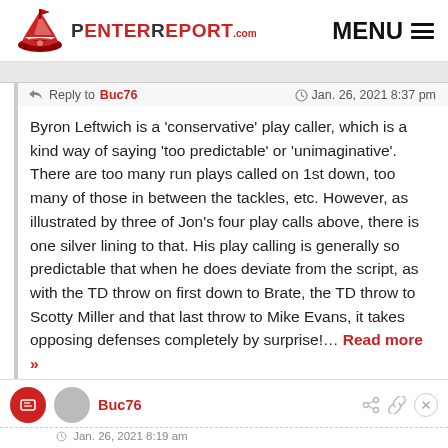PenterReport.com MENU
Reply to Buc76   Jan. 26, 2021 8:37 pm
Byron Leftwich is a 'conservative' play caller, which is a kind way of saying 'too predictable' or 'unimaginative'. There are too many run plays called on 1st down, too many of those in between the tackles, etc. However, as illustrated by three of Jon's four play calls above, there is one silver lining to that. His play calling is generally so predictable that when he does deviate from the script, as with the TD throw on first down to Brate, the TD throw to Scotty Miller and that last throw to Mike Evans, it takes opposing defenses completely by surprise!… Read more »
40
Buc76
Jan. 26, 2021 8:19 am